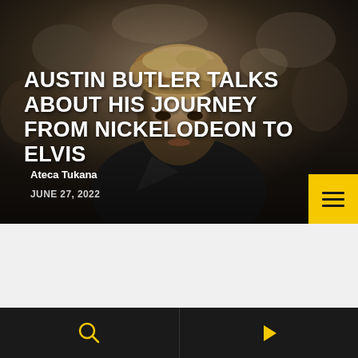[Figure (photo): Hero image of Austin Butler, a young man with curly blonde hair wearing a dark suit jacket, photographed at what appears to be a public event with blurred background crowd.]
AUSTIN BUTLER TALKS ABOUT HIS JOURNEY FROM NICKELODEON TO ELVIS
Ateca Tukana
JUNE 27, 2022
Search | Play